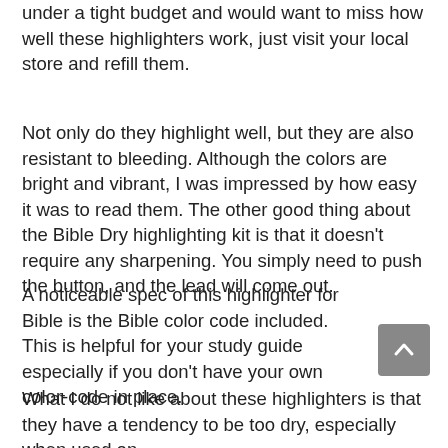under a tight budget and would want to miss how well these highlighters work, just visit your local store and refill them.
Not only do they highlight well, but they are also resistant to bleeding. Although the colors are bright and vibrant, I was impressed by how easy it was to read them. The other good thing about the Bible Dry highlighting kit is that it doesn't require any sharpening. You simply need to push the button, and the lead will come out.
A noticeable spec of this highlighter for Bible is the Bible color code included. This is helpful for your study guide especially if you don't have your own color-code in place.
What I do not like about these highlighters is that they have a tendency to be too dry, especially when used on